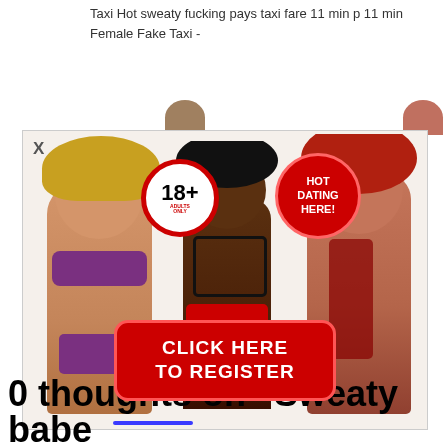Taxi Hot sweaty fucking pays taxi fare 11 min p 11 min
Female Fake Taxi -
[Figure (advertisement): Adult dating advertisement overlay with three women in lingerie, an 18+ adults only badge, a HOT DATING HERE badge, and a red CLICK HERE TO REGISTER button]
0 thoughts on “Sweaty babe